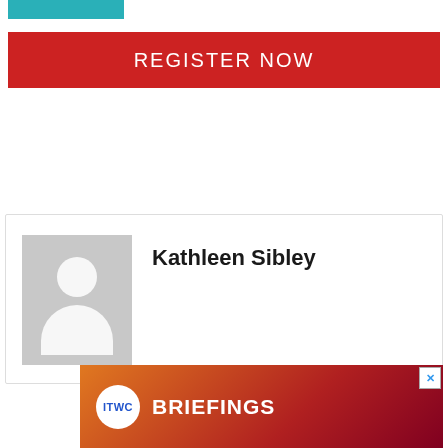[Figure (illustration): Teal/cyan colored rectangular banner image at top left]
REGISTER NOW
[Figure (photo): Generic grey avatar/person placeholder image for Kathleen Sibley profile card]
Kathleen Sibley
[Figure (logo): ITWC Briefings advertisement banner with orange-red gradient background and white ITWC circle logo]